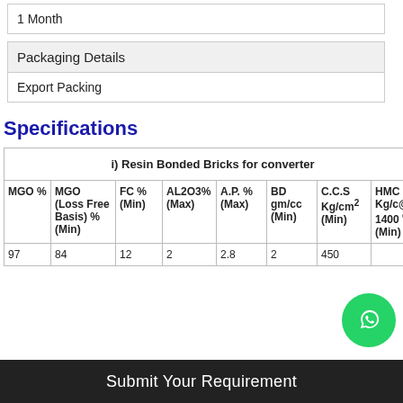| 1 Month |
| Packaging Details |
| --- |
| Export Packing |
Specifications
| i) Resin Bonded Bricks for converter |
| --- |
| MGO % | MGO (Loss Free Basis) % (Min) | FC % (Min) | AL2O3% (Max) | A.P. % (Max) | BD gm/cc (Min) | C.C.S Kg/cm2 (Min) | HMC Kg/cm2 @ 1400 oC (Min) |
| 97 | 84 | 12 | 2 | 2.8 | 2 | 450 | ... |
Submit Your Requirement